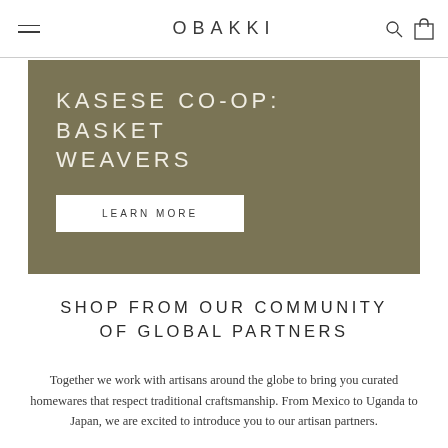OBAKKI
[Figure (other): Kasese Co-op Basket Weavers promotional banner with olive/khaki background, white uppercase heading 'KASESE CO-OP: BASKET WEAVERS' and a white 'LEARN MORE' button]
SHOP FROM OUR COMMUNITY OF GLOBAL PARTNERS
Together we work with artisans around the globe to bring you curated homewares that respect traditional craftsmanship. From Mexico to Uganda to Japan, we are excited to introduce you to our artisan partners.